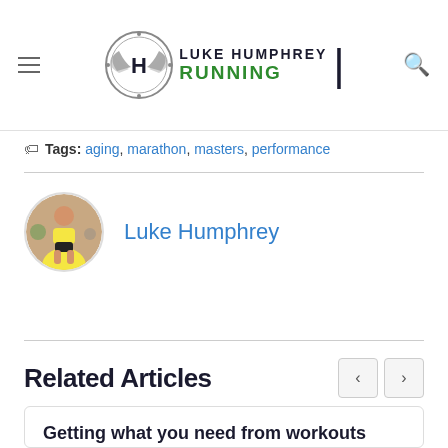Luke Humphrey Running
Tags: aging, marathon, masters, performance
Luke Humphrey
Related Articles
Getting what you need from workouts